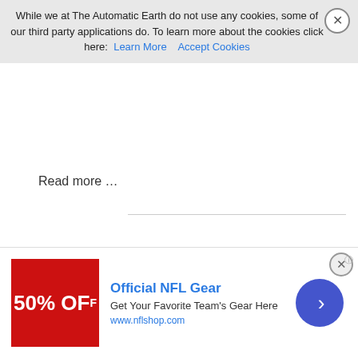While we at The Automatic Earth do not use any cookies, some of our third party applications do. To learn more about the cookies click here: Learn More   Accept Cookies
Read more …
Debt Rattle October 4 2016
October 4, 2016
Posted by Raúl Ilargi Meijer at 9:36 am
3 Responses »
[Figure (other): Advertisement banner for Official NFL Gear showing 50% OFF red image, text 'Get Your Favorite Team's Gear Here', URL www.nflshop.com, and a blue circular arrow button]